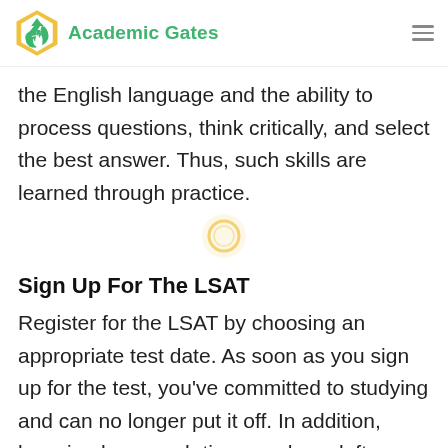Academic Gates
the English language and the ability to process questions, think critically, and select the best answer. Thus, such skills are learned through practice.
Sign Up For The LSAT
Register for the LSAT by choosing an appropriate test date. As soon as you sign up for the test, you've committed to studying and can no longer put it off. In addition, knowing how much time you have left before the LSAT will make turning